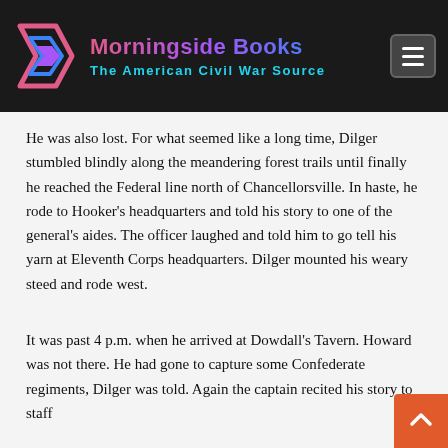[Figure (logo): Morningside Books logo with stylized arrow icon and text 'Morningside Books / The American Civil War Source' on dark background]
He was also lost. For what seemed like a long time, Dilger stumbled blindly along the meandering forest trails until finally he reached the Federal line north of Chancellorsville. In haste, he rode to Hooker's headquarters and told his story to one of the general's aides. The officer laughed and told him to go tell his yarn at Eleventh Corps headquarters. Dilger mounted his weary steed and rode west.
It was past 4 p.m. when he arrived at Dowdall's Tavern. Howard was not there. He had gone to capture some Confederate regiments, Dilger was told. Again the captain recited his story to staff